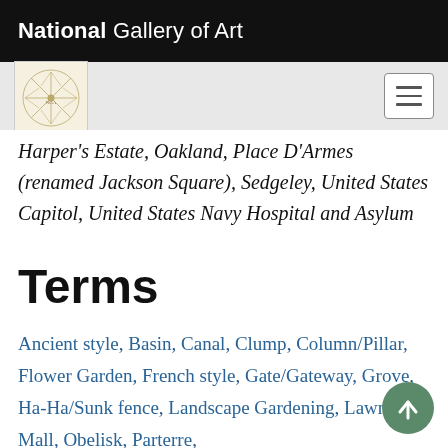National Gallery of Art
Harper's Estate, Oakland, Place D'Armes (renamed Jackson Square), Sedgeley, United States Capitol, United States Navy Hospital and Asylum
Terms
Ancient style, Basin, Canal, Clump, Column/Pillar, Flower Garden, French style, Gate/Gateway, Grove, Ha-Ha/Sunk fence, Landscape Gardening, Lawn, Mall, Obelisk, Parterre, Piazza/Veranda/Porch/Portico, Picturesque, Pleasure ground/Pleasure garden, Quarter,